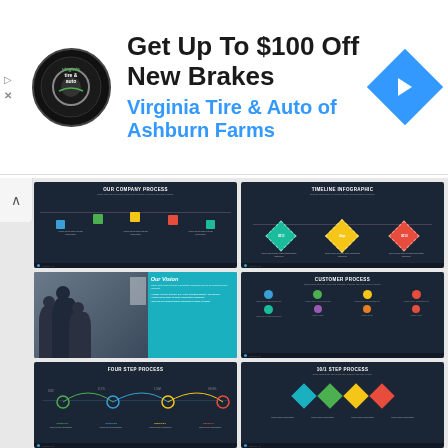[Figure (screenshot): Advertisement banner: Virginia Tire & Auto logo (circular black badge), headline 'Get Up To $100 Off New Brakes', subline 'Virginia Tire & Auto of Ashburn Farms', blue navigation arrow icon on right. Left side has play and close (X) button icons.]
[Figure (screenshot): Grid of 6 presentation slide thumbnails with dark navy backgrounds showing: (1) Our Company Process with colored icon steps, (2) Timeline Infographic with cyan/yellow/red diamond shapes, (3) Photo slide with people in a meeting room plus teal 'Our Vision' panel, (4) Customer Process grid with icons, (5) Four Step Process with curved timeline and circles, (6) 10/1 Step Process with colored diamond icons]